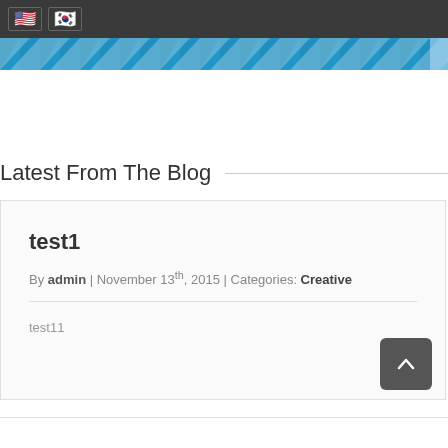🇺🇸 🇰🇷 navigation bar with flag icons
[Figure (illustration): Blue diagonal stripe decorative banner below nav bar]
Latest From The Blog
test1
By admin | November 13th, 2015 | Categories: Creative
test11